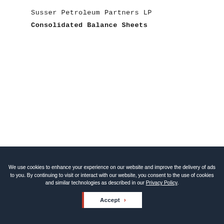Susser Petroleum Partners LP
Consolidated Balance Sheets
We use cookies to enhance your experience on our website and improve the delivery of ads to you. By continuing to visit or interact with our website, you consent to the use of cookies and similar technologies as described in our Privacy Policy.